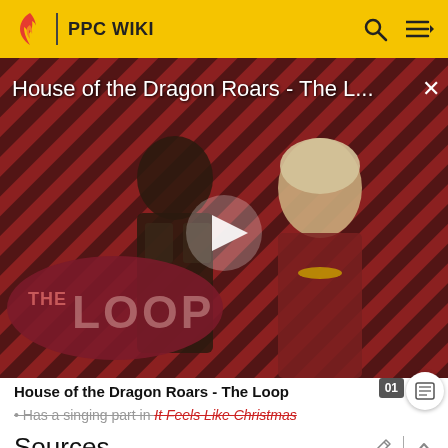PPC WIKI
[Figure (screenshot): Video thumbnail for 'House of the Dragon Roars - The L...' with a play button, featuring two characters on a diagonal red-and-dark striped background, with 'THE LOOP' logo overlay]
House of the Dragon Roars - The Loop
Has a singing part in It Feels Like Christmas
Sources